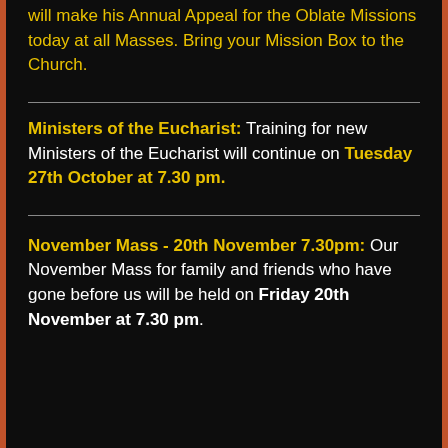Oblate Mission Appeal: Fr Paschal Ditch OMI will make his Annual Appeal for the Oblate Missions today at all Masses. Bring your Mission Box to the Church.
Ministers of the Eucharist: Training for new Ministers of the Eucharist will continue on Tuesday 27th October at 7.30 pm.
November Mass - 20th November 7.30pm: Our November Mass for family and friends who have gone before us will be held on Friday 20th November at 7.30 pm.